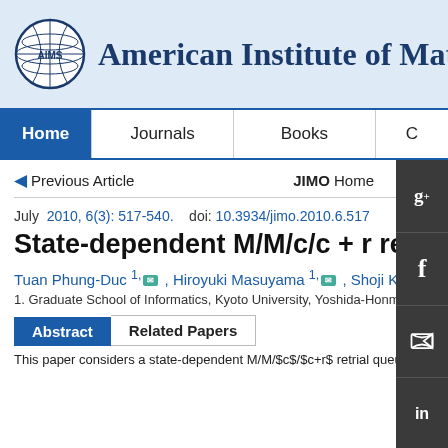[Figure (logo): AIMS globe logo with grid lines]
American Institute of Mathe...
Home | Journals | Books | ...
Previous Article    JIMO Home
July  2010, 6(3): 517-540.   doi: 10.3934/jimo.2010.6.517
State-dependent M/M/c/c + r retria...
Tuan Phung-Duc 1, , Hiroyuki Masuyama 1, , Shoji Kas...
1. Graduate School of Informatics, Kyoto University, Yoshida-Honmachi,...
Abstract | Related Papers
This paper considers a state-dependent M/M/$c$/$c+r$ retrial queue with Berno...